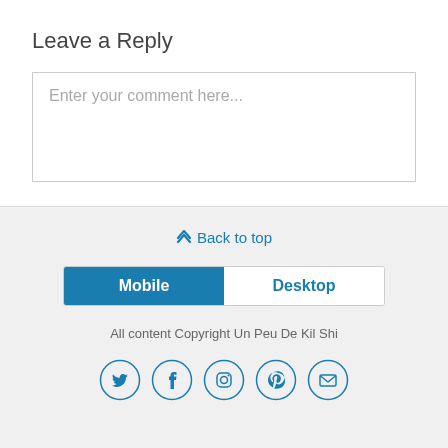Leave a Reply
Enter your comment here...
⋀ Back to top
[Figure (other): Mobile/Desktop toggle button with Mobile selected (blue) and Desktop unselected (white)]
All content Copyright Un Peu De Kil Shi
[Figure (other): Social media icons: Twitter, Facebook, Instagram, Pinterest, Email — circular outlined icons]